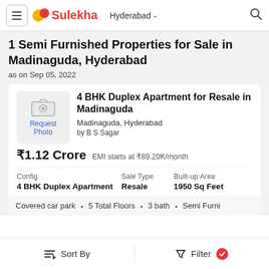Sulekha | Hyderabad
1 Semi Furnished Properties for Sale in Madinaguda, Hyderabad
as on Sep 05, 2022
[Figure (screenshot): Property photo placeholder with camera icon and 'Request Photo' label]
4 BHK Duplex Apartment for Resale in Madinaguda
Madinaguda, Hyderabad
by B S Sagar
₹1.12 Crore  EMI starts at ₹89.20K/month
| Config | Sale Type | Built-up Area |
| --- | --- | --- |
| 4 BHK Duplex Apartment | Resale | 1950 Sq Feet |
Covered car park  •  5 Total Floors  •  3 bath  •  Semi Furni
Sort By    Filter